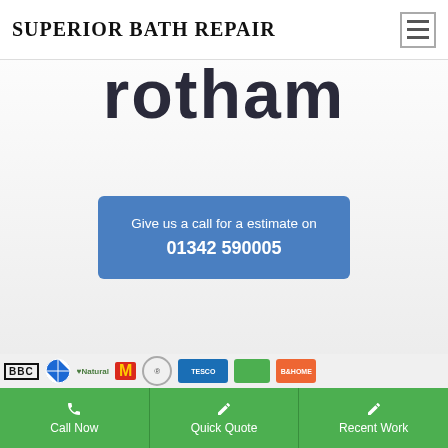SUPERIOR BATH REPAIR
rotham
Give us a call for a estimate on
01342 590005
[Figure (logo): Row of brand logos: BBC, BMW, National Trust, McDonald's, a circular logo, a blue rectangular logo, a green rectangular logo, and another logo]
Call Now
Quick Quote
Recent Work